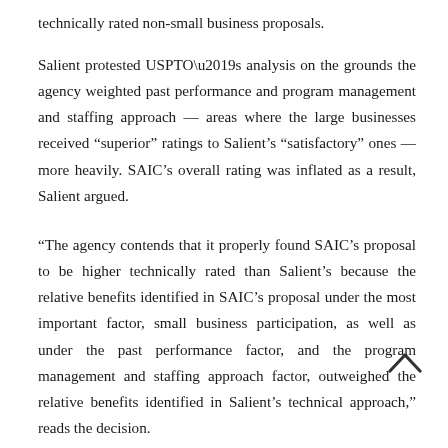technically rated non-small business proposals.
Salient protested USPTO’s analysis on the grounds the agency weighted past performance and program management and staffing approach — areas where the large businesses received “superior” ratings to Salient’s “satisfactory” ones — more heavily. SAIC’s overall rating was inflated as a result, Salient argued.
“The agency contends that it properly found SAIC’s proposal to be higher technically rated than Salient’s because the relative benefits identified in SAIC’s proposal under the most important factor, small business participation, as well as under the past performance factor, and the program management and staffing approach factor, outweighed the relative benefits identified in Salient’s technical approach,” reads the decision.